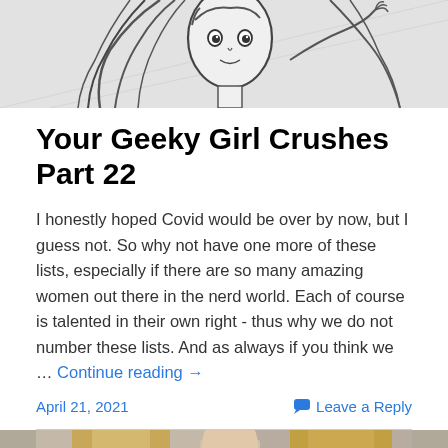[Figure (illustration): Black and white sketch illustration of an anime-style girl with flowing hair, partially visible at the top of the page]
Your Geeky Girl Crushes Part 22
I honestly hoped Covid would be over by now, but I guess not. So why not have one more of these lists, especially if there are so many amazing women out there in the nerd world. Each of course is talented in their own right - thus why we do not number these lists. And as always if you think we … Continue reading →
April 21, 2021
Leave a Reply
[Figure (photo): Photograph of two women with blonde hair, partially visible at the bottom of the page]